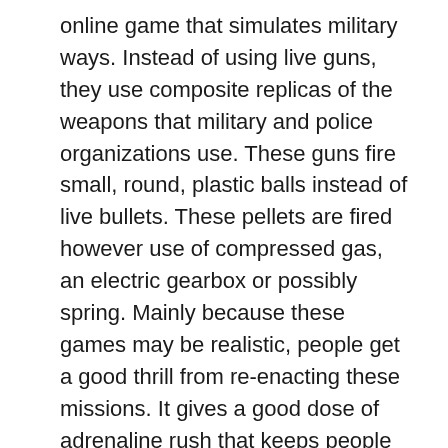online game that simulates military ways. Instead of using live guns, they use composite replicas of the weapons that military and police organizations use. These guns fire small, round, plastic balls instead of live bullets. These pellets are fired however use of compressed gas, an electric gearbox or possibly spring. Mainly because these games may be realistic, people get a good thrill from re-enacting these missions. It gives a good dose of adrenaline rush that keeps people coming back again for considerably more.
The original Mendoza design was in 7×57 Mauser, in 1943 they produced some in .30-'06, they will were not adopted the actual Mexican Us government. After the war he (and his son) attempted to develop a “Fusil de Asaulto” in 7.62mm NATO, but that too, is not adopted along with Mexicans, they